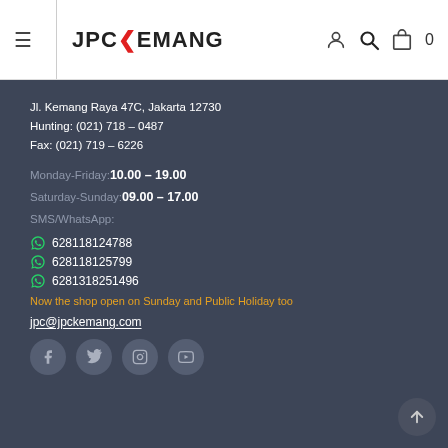[Figure (logo): JPC Kemang logo in bold black sans-serif with red chevron mark]
Jl. Kemang Raya 47C, Jakarta 12730
Hunting: (021) 718 – 0487
Fax: (021) 719 – 6226
Monday-Friday: 10.00 – 19.00
Saturday-Sunday: 09.00 – 17.00
SMS/WhatsApp:
628118124788
628118125799
6281318251496
Now the shop open on Sunday and Public Holiday too
jpc@jpckemang.com
[Figure (other): Social media icons row: Facebook, Twitter, Instagram, YouTube]